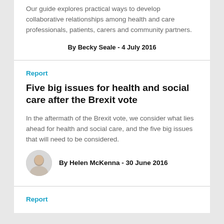Our guide explores practical ways to develop collaborative relationships among health and care professionals, patients, carers and community partners.
By Becky Seale - 4 July 2016
Report
Five big issues for health and social care after the Brexit vote
In the aftermath of the Brexit vote, we consider what lies ahead for health and social care, and the five big issues that will need to be considered.
By Helen McKenna - 30 June 2016
Report